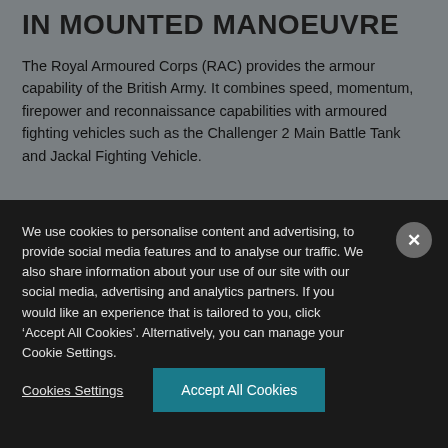IN MOUNTED MANOEUVRE
The Royal Armoured Corps (RAC) provides the armour capability of the British Army. It combines speed, momentum, firepower and reconnaissance capabilities with armoured fighting vehicles such as the Challenger 2 Main Battle Tank and Jackal Fighting Vehicle.
We use cookies to personalise content and advertising, to provide social media features and to analyse our traffic. We also share information about your use of our site with our social media, advertising and analytics partners. If you would like an experience that is tailored to you, click ‘Accept All Cookies’. Alternatively, you can manage your Cookie Settings.
Cookies Settings
Accept All Cookies